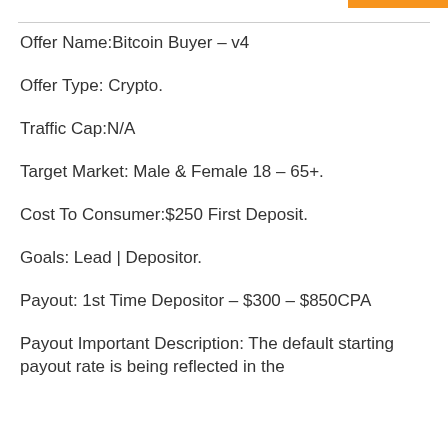Offer Name:Bitcoin Buyer – v4
Offer Type: Crypto.
Traffic Cap:N/A
Target Market: Male & Female 18 – 65+.
Cost To Consumer:$250 First Deposit.
Goals: Lead | Depositor.
Payout: 1st Time Depositor – $300 – $850CPA
Payout Important Description: The default starting payout rate is being reflected in the